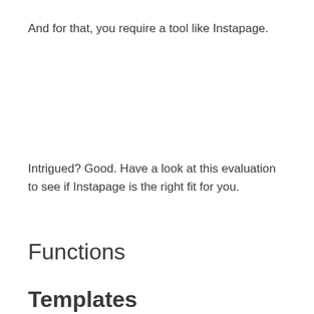And for that, you require a tool like Instapage.
Intrigued? Good. Have a look at this evaluation to see if Instapage is the right fit for you.
Functions
Templates